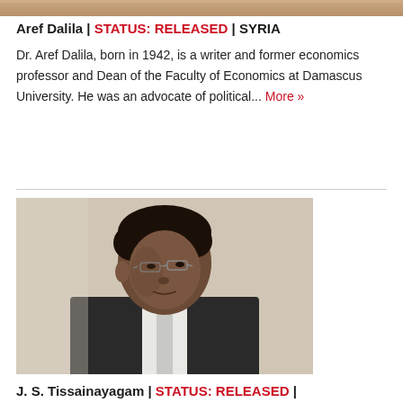[Figure (photo): Partial photo at top of page, cropped person]
Aref Dalila | STATUS: RELEASED | SYRIA
Dr. Aref Dalila, born in 1942, is a writer and former economics professor and Dean of the Faculty of Economics at Damascus University. He was an advocate of political... More »
[Figure (photo): Photo of J. S. Tissainayagam, a man wearing glasses and a dark suit with white shirt, looking to the side]
J. S. Tissainayagam | STATUS: RELEASED |